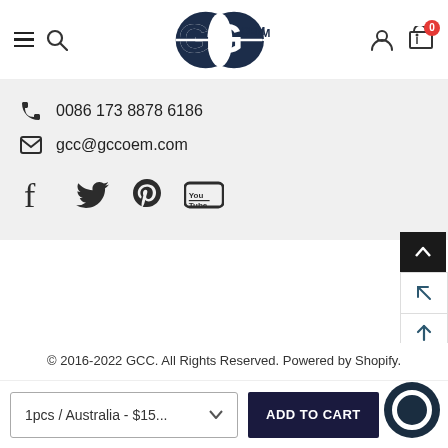[Figure (logo): GCC OEM logo with two overlapping circular shapes in dark navy blue and the text OEM]
0086 173 8878 6186
gcc@gccoem.com
[Figure (infographic): Social media icons: Facebook, Twitter, Pinterest, YouTube]
© 2016-2022 GCC. All Rights Reserved. Powered by Shopify.
1pcs / Australia - $15...
ADD TO CART